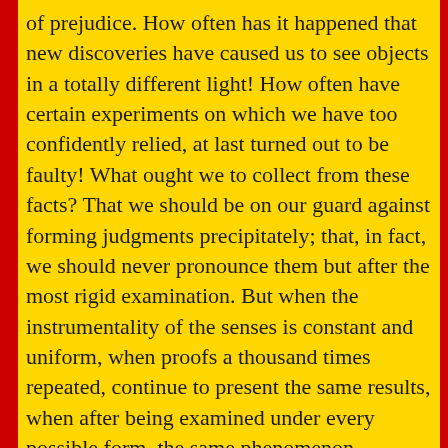of prejudice. How often has it happened that new discoveries have caused us to see objects in a totally different light! How often have certain experiments on which we have too confidently relied, at last turned out to be faulty! What ought we to collect from these facts? That we should be on our guard against forming judgments precipitately; that, in fact, we should never pronounce them but after the most rigid examination. But when the instrumentality of the senses is constant and uniform, when proofs a thousand times repeated, continue to present the same results, when after being examined under every possible form, the same phenomenon continues to present itself, and when objects are so palpable, so sensible, that all we require is to have eyes to see, and ears to hear, can we then refuse to